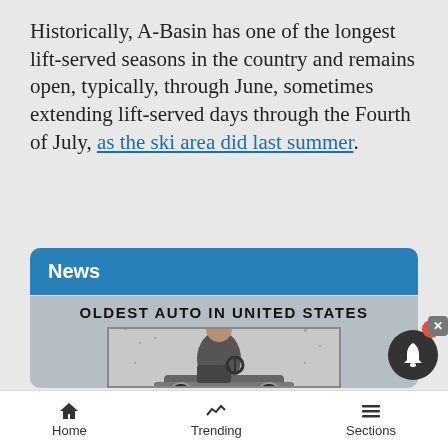Historically, A-Basin has one of the longest lift-served seasons in the country and remains open, typically, through June, sometimes extending lift-served days through the Fourth of July, as the ski area did last summer.
News
[Figure (photo): Newspaper clipping titled 'OLDEST AUTO IN UNITED STATES' showing a black and white illustration of a man in a suit and hat sitting in an early automobile]
Home   Trending   Sections